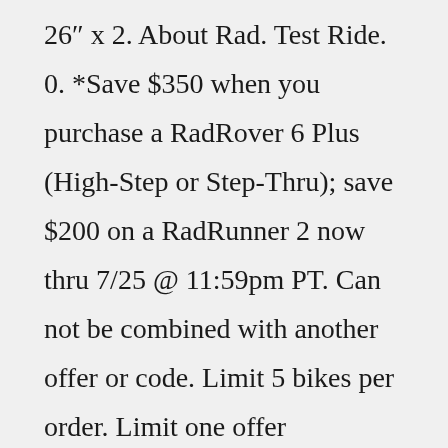26″ x 2. About Rad. Test Ride. 0. *Save $350 when you purchase a RadRover 6 Plus (High-Step or Step-Thru); save $200 on a RadRunner 2 now thru 7/25 @ 11:59pm PT. Can not be combined with another offer or code. Limit 5 bikes per order. Limit one offer redemption per customer. Featured collections. A ride style. Mar 08, 2019 · KT3 looks more than just a screen with a button, but still requires a compatible